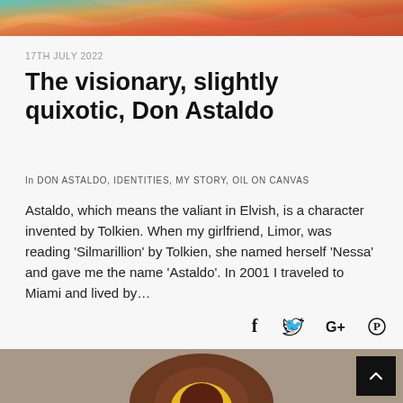[Figure (photo): Colorful abstract/impressionist painting cropped at top — teal, orange, red colors visible]
17TH JULY 2022
The visionary, slightly quixotic, Don Astaldo
In DON ASTALDO, IDENTITIES, MY STORY, OIL ON CANVAS
Astaldo, which means the valiant in Elvish, is a character invented by Tolkien. When my girlfriend, Limor, was reading 'Silmarillion' by Tolkien, she named herself 'Nessa' and gave me the name 'Astaldo'. In 2001 I traveled to Miami and lived by…
[Figure (other): Social share icons: Facebook (f), Twitter (bird), Google+ (G+), Pinterest (P circle)]
[Figure (photo): Artwork photo at bottom — dark brown/maroon rounded form with yellow element, on muted background]